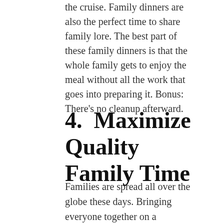the cruise. Family dinners are also the perfect time to share family lore. The best part of these family dinners is that the whole family gets to enjoy the meal without all the work that goes into preparing it. Bonus: There's no cleanup afterward.
4.  Maximize Quality Family Time
Families are spread all over the globe these days. Bringing everyone together on a multigenerational cruise is far superior to Skype and FaceTime. First generation relatives (cousins) and second-generation relatives